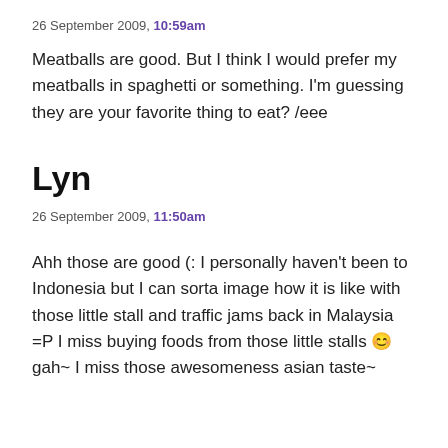26 September 2009, 10:59am
Meatballs are good. But I think I would prefer my meatballs in spaghetti or something. I'm guessing they are your favorite thing to eat? /eee
Lyn
26 September 2009, 11:50am
Ahh those are good (: I personally haven't been to Indonesia but I can sorta image how it is like with those little stall and traffic jams back in Malaysia =P I miss buying foods from those little stalls 😊 gah~ I miss those awesomeness asian taste~